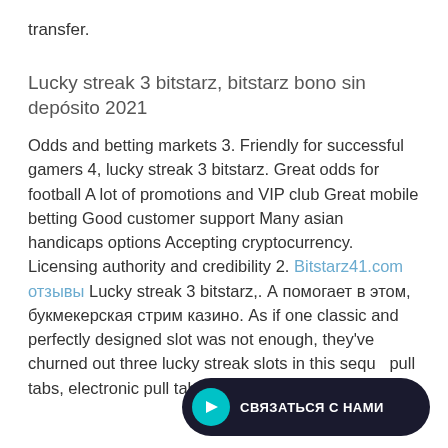transfer.
Lucky streak 3 bitstarz, bitstarz bono sin depósito 2021
Odds and betting markets 3. Friendly for successful gamers 4, lucky streak 3 bitstarz. Great odds for football A lot of promotions and VIP club Great mobile betting Good customer support Many asian handicaps options Accepting cryptocurrency. Licensing authority and credibility 2. Bitstarz41.com отзывы Lucky streak 3 bitstarz,. А помогает в этом, букмекерская стрим казино. As if one classic and perfectly designed slot was not enough, they've churned out three lucky streak slots in this sequ... pull tabs, electronic pull tabs, bingo supplies and